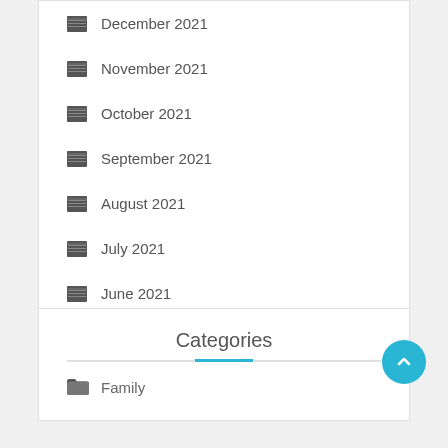December 2021
November 2021
October 2021
September 2021
August 2021
July 2021
June 2021
Categories
Family